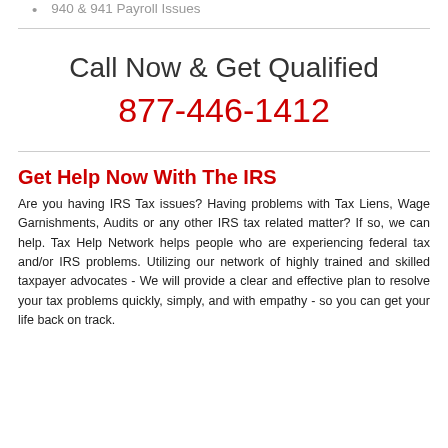940 & 941 Payroll Issues
Call Now & Get Qualified
877-446-1412
Get Help Now With The IRS
Are you having IRS Tax issues? Having problems with Tax Liens, Wage Garnishments, Audits or any other IRS tax related matter? If so, we can help. Tax Help Network helps people who are experiencing federal tax and/or IRS problems. Utilizing our network of highly trained and skilled taxpayer advocates - We will provide a clear and effective plan to resolve your tax problems quickly, simply, and with empathy - so you can get your life back on track.